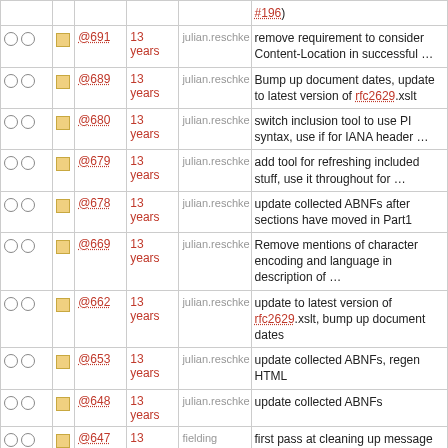|  |  | Ref | Age | Author | Description |
| --- | --- | --- | --- | --- | --- |
|  |  | @691 | 13 years | julian.reschke | remove requirement to consider Content-Location in successful … |
|  |  | @689 | 13 years | julian.reschke | Bump up document dates, update to latest version of rfc2629.xslt |
|  |  | @680 | 13 years | julian.reschke | switch inclusion tool to use PI syntax, use if for IANA header … |
|  |  | @679 | 13 years | julian.reschke | add tool for refreshing included stuff, use it throughout for … |
|  |  | @678 | 13 years | julian.reschke | update collected ABNFs after sections have moved in Part1 |
|  |  | @669 | 13 years | julian.reschke | Remove mentions of character encoding and language in description of … |
|  |  | @662 | 13 years | julian.reschke | update to latest version of rfc2629.xslt, bump up document dates |
|  |  | @653 | 13 years | julian.reschke | update collected ABNFs, regen HTML |
|  |  | @648 | 13 years | julian.reschke | update collected ABNFs |
|  |  | @647 | 13 years | fielding | first pass at cleaning up message parsing definition: header fields. |
|  |  | @628 | 13 years | julian.reschke | update P2..7 as section numbers in P1 have |